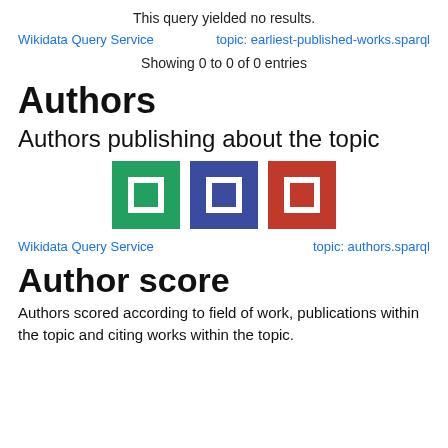This query yielded no results.
Wikidata Query Service     topic: earliest-published-works.sparql
Showing 0 to 0 of 0 entries
Authors
Authors publishing about the topic
[Figure (illustration): Three colored square icon buttons: green, dark blue/purple, and red, each with a white square cutout in the center]
Wikidata Query Service     topic: authors.sparql
Author score
Authors scored according to field of work, publications within the topic and citing works within the topic.